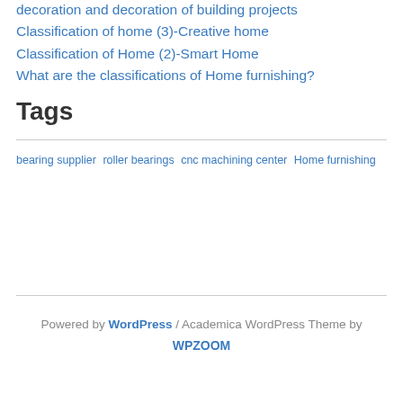decoration and decoration of building projects
Classification of home (3)-Creative home
Classification of Home (2)-Smart Home
What are the classifications of Home furnishing?
Tags
bearing supplier  roller bearings  cnc machining center  Home furnishing
Powered by WordPress / Academica WordPress Theme by WPZOOM